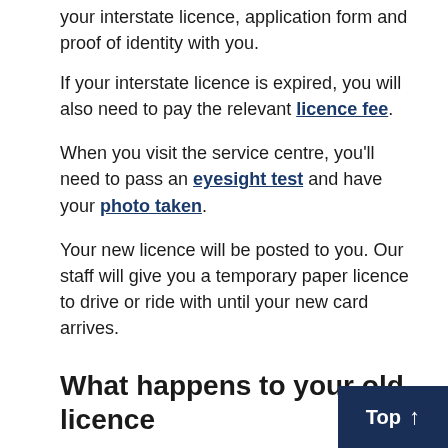your interstate licence, application form and proof of identity with you.
If your interstate licence is expired, you will also need to pay the relevant licence fee.
When you visit the service centre, you'll need to pass an eyesight test and have your photo taken.
Your new licence will be posted to you. Our staff will give you a temporary paper licence to drive or ride with until your new card arrives.
What happens to your old licence
As you cannot hold more than one Australian licence at a time, we will invalidate your